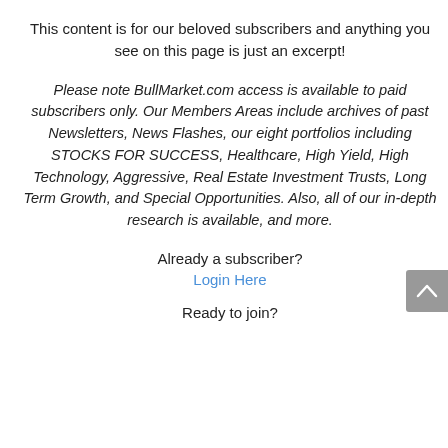This content is for our beloved subscribers and anything you see on this page is just an excerpt!
Please note BullMarket.com access is available to paid subscribers only. Our Members Areas include archives of past Newsletters, News Flashes, our eight portfolios including STOCKS FOR SUCCESS, Healthcare, High Yield, High Technology, Aggressive, Real Estate Investment Trusts, Long Term Growth, and Special Opportunities. Also, all of our in-depth research is available, and more.
Already a subscriber?
Login Here
Ready to join?